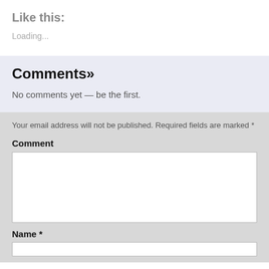Like this:
Loading...
Comments»
No comments yet — be the first.
Your email address will not be published. Required fields are marked *
Comment
Name *